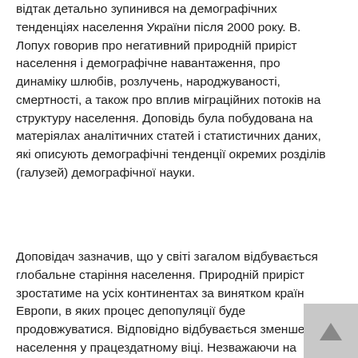відтак детально зупинився на демографічних тенденціях населення України після 2000 року. В. Лопух говорив про негативний природній приріст населення і демографічне навантаження, про динаміку шлюбів, розлучень, народжуваності, смертності, а також про вплив міграційних потоків на структуру населення. Доповідь була побудована на матеріялах аналітичних статей і статистичних даних, які описують демографічні тенденції окремих розділів (галузей) демографічної науки.
Доповідач зазначив, що у світі загалом відбувається глобальне старіння населення. Природній приріст зростатиме на усіх континентах за винятком країн Европи, в яких процес депопуляції буде продовжуватися. Відповідно відбувається зменшення населення у працездатному віці. Незважаючи на стійку тенденцію депопуляції, загальна чисельність населення Европи все ж зростає. Це відбувається за рахунок іміґрантів. Найбільша кількість іміґрантів у Европі з країн мусульманського світу. Особливість цієї категорії